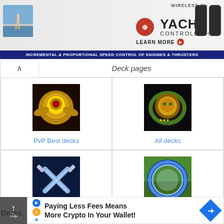[Figure (screenshot): Yacht Controller advertisement banner with logo, remotes, and sailboat image. Text: WIRELESS C[play button] X, LEARN MORE [arrow], INCREMENTAL & PROPORTIONAL SPEED CONTROL OF ENGINES & THRUSTERS]
Deck pages
[Figure (screenshot): Gold emblem/crest image for PvP Best decks]
PvP Best decks
[Figure (screenshot): Gold lion crest on dark background for All decks]
All decks
[Figure (screenshot): Crossed swords blue icon for Auto Duel]
Auto Duel
[Figure (screenshot): Blue circular portal/ring image for Tips for farming LDs]
Tips for farming LDs
King of Games decks
Decks
Paying Less Fees Means More Crypto In Your Wallet!